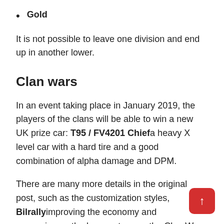Gold
It is not possible to leave one division and end up in another lower.
Clan wars
In an event taking place in January 2019, the players of the clans will be able to win a new UK prize car: T95 / FV4201 Chief a heavy X level car with a hard tire and a good combination of alpha damage and DPM.
There are many more details in the original post, such as the customization styles, Bilrally improving the economy and convenience, the bonus store, or the Clan Wa which you eventually leave as the source of this